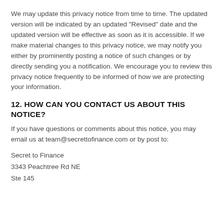We may update this privacy notice from time to time. The updated version will be indicated by an updated "Revised" date and the updated version will be effective as soon as it is accessible. If we make material changes to this privacy notice, we may notify you either by prominently posting a notice of such changes or by directly sending you a notification. We encourage you to review this privacy notice frequently to be informed of how we are protecting your information.
12. HOW CAN YOU CONTACT US ABOUT THIS NOTICE?
If you have questions or comments about this notice, you may email us at team@secrettofinance.com or by post to:
Secret to Finance
3343 Peachtree Rd NE
Ste 145